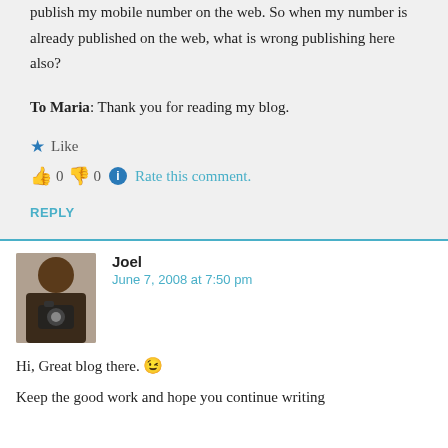publish my mobile number on the web. So when my number is already published on the web, what is wrong publishing here also?
To Maria: Thank you for reading my blog.
★ Like
👍 0 👎 0 ℹ Rate this comment.
REPLY
Joel
June 7, 2008 at 7:50 pm
Hi, Great blog there. 😉
Keep the good work and hope you continue writing